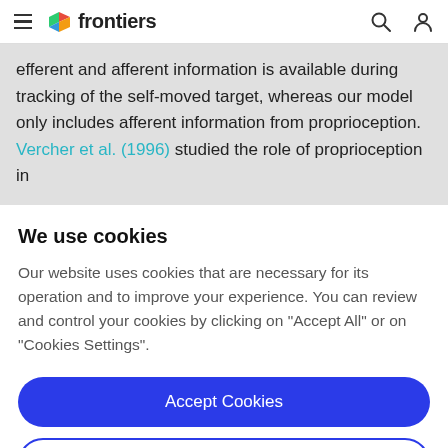frontiers
efferent and afferent information is available during tracking of the self-moved target, whereas our model only includes afferent information from proprioception. Vercher et al. (1996) studied the role of proprioception in
We use cookies
Our website uses cookies that are necessary for its operation and to improve your experience. You can review and control your cookies by clicking on "Accept All" or on "Cookies Settings".
Accept Cookies
Cookies Settings